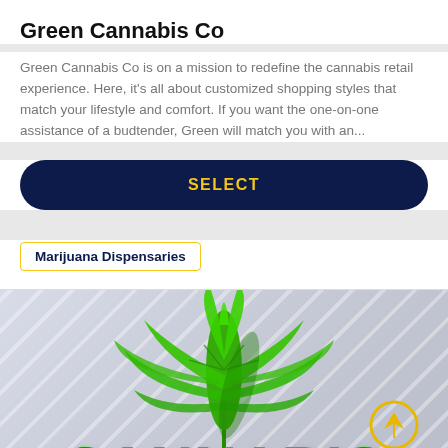Green Cannabis Co
Green Cannabis Co is on a mission to redefine the cannabis retail experience. Here, it's all about customized shopping styles that match your lifestyle and comfort. If you want the one-on-one assistance of a budtender, Green will match you with an...
SELECT
Marijuana Dispensaries
[Figure (photo): 3D rendered cannabis/marijuana leaf in green over a light grey diagonal-striped background with the word CANNABIS in large green 3D letters at the bottom, and a gold/yellow arrow circle icon on the right side]